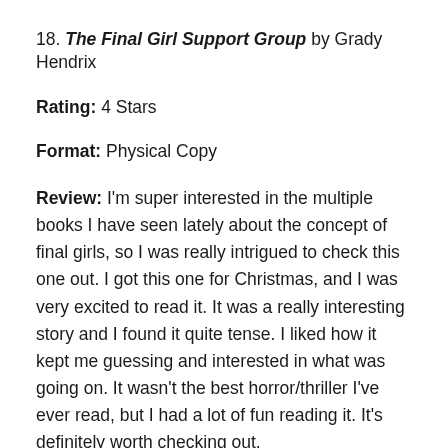18. The Final Girl Support Group by Grady Hendrix
Rating: 4 Stars
Format: Physical Copy
Review: I'm super interested in the multiple books I have seen lately about the concept of final girls, so I was really intrigued to check this one out.  I got this one for Christmas, and I was very excited to read it.  It was a really interesting story and I found it quite tense.  I liked how it kept me guessing and interested in what was going on.  It wasn't the best horror/thriller I've ever read, but I had a lot of fun reading it.  It's definitely worth checking out.